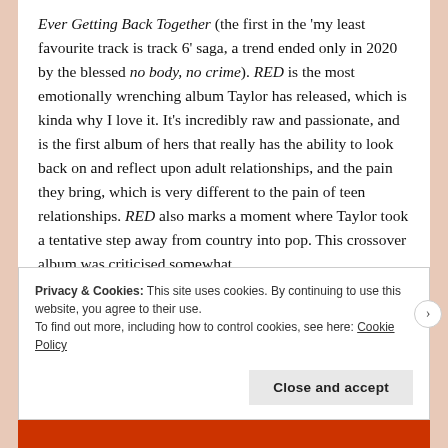Ever Getting Back Together (the first in the 'my least favourite track is track 6' saga, a trend ended only in 2020 by the blessed no body, no crime). RED is the most emotionally wrenching album Taylor has released, which is kinda why I love it. It's incredibly raw and passionate, and is the first album of hers that really has the ability to look back on and reflect upon adult relationships, and the pain they bring, which is very different to the pain of teen relationships. RED also marks a moment where Taylor took a tentative step away from country into pop. This crossover album was criticised somewhat
Privacy & Cookies: This site uses cookies. By continuing to use this website, you agree to their use.
To find out more, including how to control cookies, see here: Cookie Policy
Close and accept